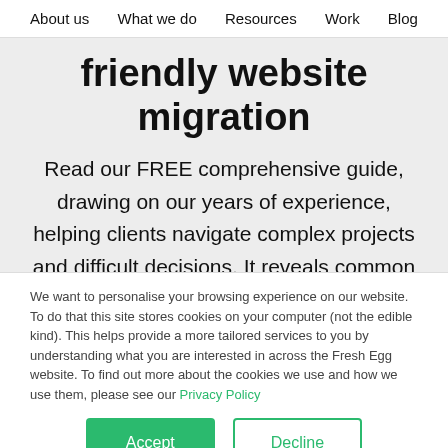About us  What we do  Resources  Work  Blog
friendly website migration
Read our FREE comprehensive guide, drawing on our years of experience, helping clients navigate complex projects and difficult decisions. It reveals common SEO mistakes and how to avoid them, how to build a bullet-proof strategy, and how to
We want to personalise your browsing experience on our website. To do that this site stores cookies on your computer (not the edible kind). This helps provide a more tailored services to you by understanding what you are interested in across the Fresh Egg website. To find out more about the cookies we use and how we use them, please see our Privacy Policy
Accept
Decline